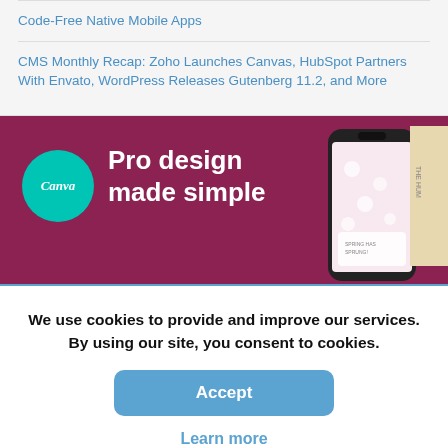Code-Free Native Mobile Apps
CMS Monthly Recap: Zoho Launches Canvas, HubSpot Partners With Envato, WordPress Releases Gutenberg 11.2, and More
[Figure (illustration): Canva advertisement banner with teal logo circle, white bold text 'Pro design made simple' on dark pink/maroon background, and a smartphone showing a floral design.]
We use cookies to provide and improve our services. By using our site, you consent to cookies.
Accept
Learn more